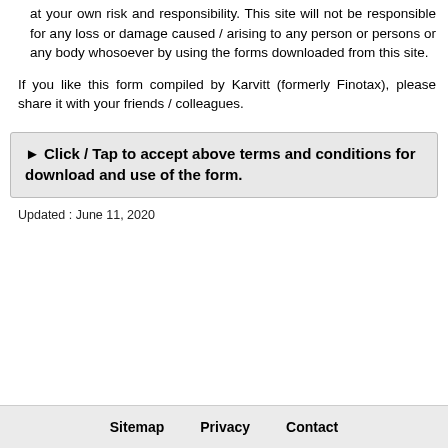at your own risk and responsibility. This site will not be responsible for any loss or damage caused / arising to any person or persons or any body whosoever by using the forms downloaded from this site.
If you like this form compiled by Karvitt (formerly Finotax), please share it with your friends / colleagues.
▶ Click / Tap to accept above terms and conditions for download and use of the form.
Updated : June 11, 2020
Sitemap   Privacy   Contact